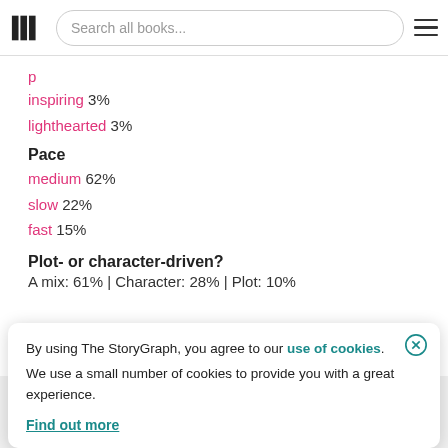Search all books...
inspiring 3%
lighthearted 3%
Pace
medium 62%
slow 22%
fast 15%
Plot- or character-driven?
A mix: 61% | Character: 28% | Plot: 10%
By using The StoryGraph, you agree to our use of cookies. We use a small number of cookies to provide you with a great experience. Find out more